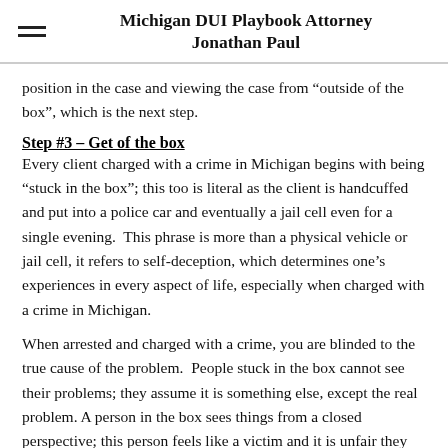Michigan DUI Playbook Attorney Jonathan Paul
position in the case and viewing the case from “outside of the box”, which is the next step.
Step #3 – Get of the box
Every client charged with a crime in Michigan begins with being “stuck in the box”; this too is literal as the client is handcuffed and put into a police car and eventually a jail cell even for a single evening.  This phrase is more than a physical vehicle or jail cell, it refers to self-deception, which determines one’s experiences in every aspect of life, especially when charged with a crime in Michigan.
When arrested and charged with a crime, you are blinded to the true cause of the problem.  People stuck in the box cannot see their problems; they assume it is something else, except the real problem. A person in the box sees things from a closed perspective; this person feels like a victim and it is unfair they are now facing